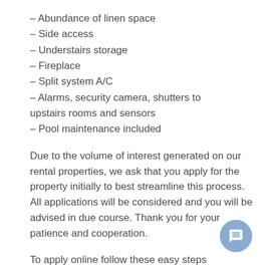– Abundance of linen space
– Side access
– Understairs storage
– Fireplace
– Split system A/C
– Alarms, security camera, shutters to upstairs rooms and sensors
– Pool maintenance included
Due to the volume of interest generated on our rental properties, we ask that you apply for the property initially to best streamline this process. All applications will be considered and you will be advised in due course. Thank you for your patience and cooperation.
To apply online follow these easy steps
*To apply go to https://t-app.com.au/mk or
* Visit our webpage